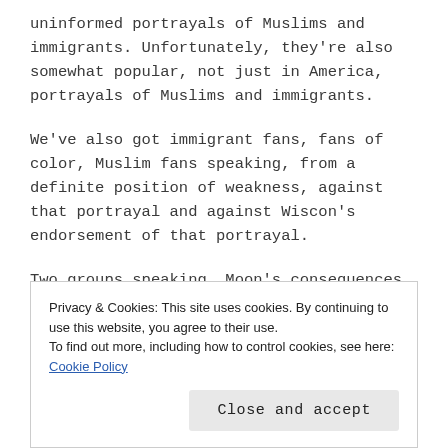uninformed portrayals of Muslims and immigrants. Unfortunately, they're also somewhat popular, not just in America, portrayals of Muslims and immigrants.
We've also got immigrant fans, fans of color, Muslim fans speaking, from a definite position of weakness, against that portrayal and against Wiscon's endorsement of that portrayal.
Two groups speaking. Moon's consequences are
Privacy & Cookies: This site uses cookies. By continuing to use this website, you agree to their use.
To find out more, including how to control cookies, see here: Cookie Policy
Close and accept